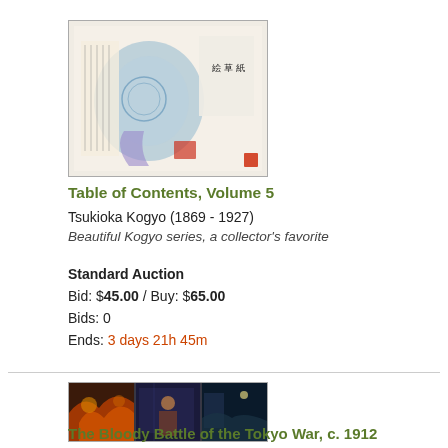[Figure (photo): Japanese woodblock print showing a table of contents page with blue and white decorative kimono fabric and Japanese calligraphy text]
Table of Contents, Volume 5
Tsukioka Kogyo (1869 - 1927)
Beautiful Kogyo series, a collector's favorite
Standard Auction
Bid: $45.00 / Buy: $65.00
Bids: 0
Ends: 3 days 21h 45m
[Figure (photo): Japanese triptych woodblock print showing dramatic battle scene with warriors, demons and fire in dark blue and orange tones, three panels side by side]
The Bloody Battle of the Tokyo War, c. 1912